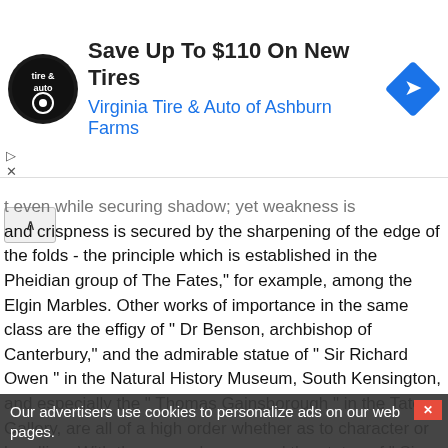[Figure (other): Advertisement banner: Virginia Tire & Auto logo (circular black badge), text 'Save Up To $110 On New Tires' and 'Virginia Tire & Auto of Ashburn Farms' in blue, navigation arrow icon in blue diamond on right.]
t even while securing shadow; yet weakness is and crispness is secured by the sharpening of the edge of the folds - the principle which is established in the Pheidian group of The Fates," for example, among the Elgin Marbles. Other works of importance in the same class are the effigy of " Dr Benson, archbishop of Canterbury," and the admirable statue of " Sir Richard Owen " in the Natural History Museum, South Kensington, and especially the " Thomas Gainsborough " in the Tate Gallery, are all of a high order whether as to character or handling. With these may be grouped the statue of " Sir Henry Irving," the tribute of British actors to the memory of the great dramatic artist (1910), and the seated marble statue of Lord Russell (1904).(1904). The bust of Queen... and more dignified works of its class executed in England; full of tenderness and of character, lovingly rendered; and with a delicate feeling for form, rightly ... his ... ded the noble ... by which the memory of Lord Leighton is to be kept green in the aisle of St Paul's cathedral. In proportion and in harmony of design and of line, alike in conception and in reticence, it is the
[Figure (other): Cookie consent overlay with message 'Our advertisers use cookies to personalize ads on our web pages.' with ACCEPT and DECLINE buttons, a Details link, and a red X close button.]